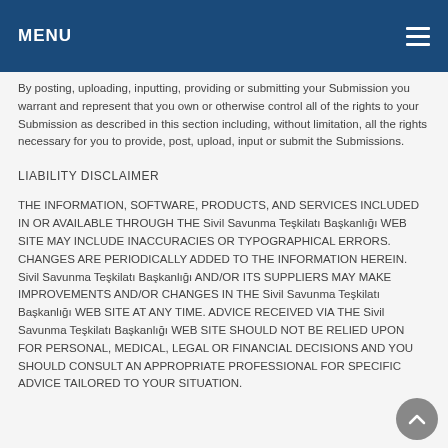MENU
By posting, uploading, inputting, providing or submitting your Submission you warrant and represent that you own or otherwise control all of the rights to your Submission as described in this section including, without limitation, all the rights necessary for you to provide, post, upload, input or submit the Submissions.
LIABILITY DISCLAIMER
THE INFORMATION, SOFTWARE, PRODUCTS, AND SERVICES INCLUDED IN OR AVAILABLE THROUGH THE Sivil Savunma Teşkilatı Başkanlığı WEB SITE MAY INCLUDE INACCURACIES OR TYPOGRAPHICAL ERRORS. CHANGES ARE PERIODICALLY ADDED TO THE INFORMATION HEREIN. Sivil Savunma Teşkilatı Başkanlığı AND/OR ITS SUPPLIERS MAY MAKE IMPROVEMENTS AND/OR CHANGES IN THE Sivil Savunma Teşkilatı Başkanlığı WEB SITE AT ANY TIME. ADVICE RECEIVED VIA THE Sivil Savunma Teşkilatı Başkanlığı WEB SITE SHOULD NOT BE RELIED UPON FOR PERSONAL, MEDICAL, LEGAL OR FINANCIAL DECISIONS AND YOU SHOULD CONSULT AN APPROPRIATE PROFESSIONAL FOR SPECIFIC ADVICE TAILORED TO YOUR SITUATION.